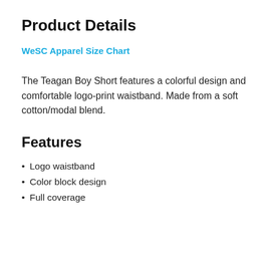Product Details
WeSC Apparel Size Chart
The Teagan Boy Short features a colorful design and comfortable logo-print waistband. Made from a soft cotton/modal blend.
Features
Logo waistband
Color block design
Full coverage